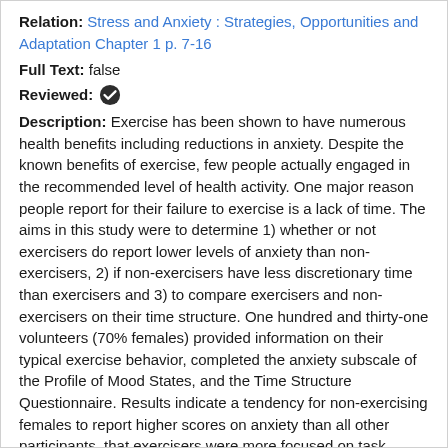Relation: Stress and Anxiety : Strategies, Opportunities and Adaptation Chapter 1 p. 7-16
Full Text: false
Reviewed: [checkmark icon]
Description: Exercise has been shown to have numerous health benefits including reductions in anxiety. Despite the known benefits of exercise, few people actually engaged in the recommended level of health activity. One major reason people report for their failure to exercise is a lack of time. The aims in this study were to determine 1) whether or not exercisers do report lower levels of anxiety than non-exercisers, 2) if non-exercisers have less discretionary time than exercisers and 3) to compare exercisers and non-exercisers on their time structure. One hundred and thirty-one volunteers (70% females) provided information on their typical exercise behavior, completed the anxiety subscale of the Profile of Mood States, and the Time Structure Questionnaire. Results indicate a tendency for non-exercising females to report higher scores on anxiety than all other participants, that exercisers were more focused on task...